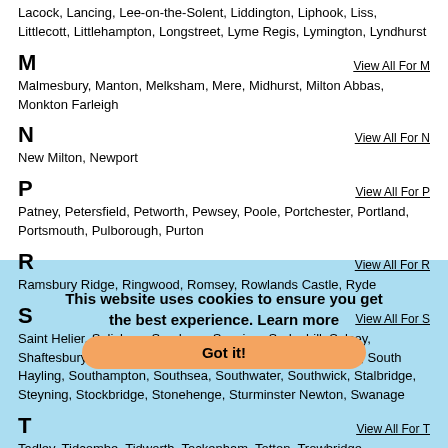Lacock, Lancing, Lee-on-the-Solent, Liddington, Liphook, Liss, Littlecott, Littlehampton, Longstreet, Lyme Regis, Lymington, Lyndhurst
M
View All For M
Malmesbury, Manton, Melksham, Mere, Midhurst, Milton Abbas, Monkton Farleigh
N
View All For N
New Milton, Newport
P
View All For P
Patney, Petersfield, Petworth, Pewsey, Poole, Portchester, Portland, Portsmouth, Pulborough, Purton
R
View All For R
Ramsbury Ridge, Ringwood, Romsey, Rowlands Castle, Ryde
S
View All For S
Saint Helier, Salisbury, Sandown, Seaview, Sedgehill, Selsey, Shaftesbury, Shanklin, Sherborne, Shoreham by Sea, Snap, South Hayling, Southampton, Southsea, Southwater, Southwick, Stalbridge, Steyning, Stockbridge, Stonehenge, Sturminster Newton, Swanage
T
View All For T
Tadley, Tidcombe, Tidworth, Tockenham, Totton, Trowbridge
V
View All For V
Ventnor, Verwood